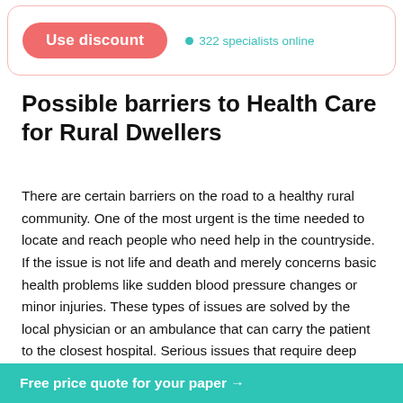[Figure (other): Top UI banner with a pink rounded rectangle border containing a red 'Use discount' button and teal '322 specialists online' indicator]
Possible barriers to Health Care for Rural Dwellers
There are certain barriers on the road to a healthy rural community. One of the most urgent is the time needed to locate and reach people who need help in the countryside. If the issue is not life and death and merely concerns basic health problems like sudden blood pressure changes or minor injuries. These types of issues are solved by the local physician or an ambulance that can carry the patient to the closest hospital. Serious issues that require deep knowledge, exquisite skill or simply a quick intervention constitute grave barriers (Haggerty, Roberge, Lévesque, Gauthier, & Loignon, ...ly needs special ...t with proper
[Figure (other): Bottom teal banner with white bold text: 'Free price quote for your paper →']